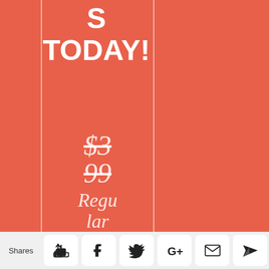S TODAY!
$3
99
Regular
(CAD)
Shares [like] [facebook] [twitter] [google+] [email] [crown]